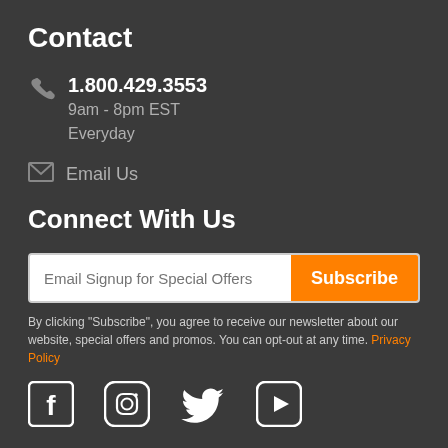Contact
1.800.429.3553
9am - 8pm EST
Everyday
Email Us
Connect With Us
Email Signup for Special Offers
By clicking "Subscribe", you agree to receive our newsletter about our website, special offers and promos. You can opt-out at any time. Privacy Policy
[Figure (illustration): Social media icons row: Facebook, Instagram, Twitter, YouTube]